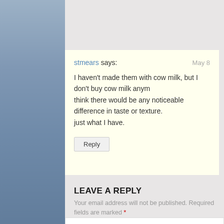stmears says: May 8
I haven't made them with cow milk, but I don't buy cow milk anymore. I don't think there would be any noticeable difference in taste or texture. I just use just what I have.
Reply
LEAVE A REPLY
Your email address will not be published. Required fields are marked *
COMMENT *